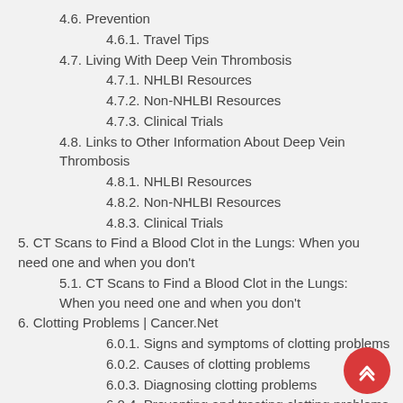4.6. Prevention
4.6.1. Travel Tips
4.7. Living With Deep Vein Thrombosis
4.7.1. NHLBI Resources
4.7.2. Non-NHLBI Resources
4.7.3. Clinical Trials
4.8. Links to Other Information About Deep Vein Thrombosis
4.8.1. NHLBI Resources
4.8.2. Non-NHLBI Resources
4.8.3. Clinical Trials
5. CT Scans to Find a Blood Clot in the Lungs: When you need one and when you don't
5.1. CT Scans to Find a Blood Clot in the Lungs: When you need one and when you don't
6. Clotting Problems | Cancer.Net
6.0.1. Signs and symptoms of clotting problems
6.0.2. Causes of clotting problems
6.0.3. Diagnosing clotting problems
6.0.4. Preventing and treating clotting problems